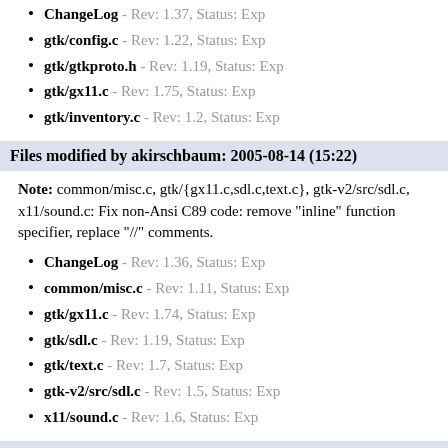ChangeLog - Rev: 1.37, Status: Exp
gtk/config.c - Rev: 1.22, Status: Exp
gtk/gtkproto.h - Rev: 1.19, Status: Exp
gtk/gx11.c - Rev: 1.75, Status: Exp
gtk/inventory.c - Rev: 1.2, Status: Exp
Files modified by akirschbaum: 2005-08-14 (15:22)
Note: common/misc.c, gtk/{gx11.c,sdl.c,text.c}, gtk-v2/src/sdl.c, x11/sound.c: Fix non-Ansi C89 code: remove "inline" function specifier, replace "//" comments.
ChangeLog - Rev: 1.36, Status: Exp
common/misc.c - Rev: 1.11, Status: Exp
gtk/gx11.c - Rev: 1.74, Status: Exp
gtk/sdl.c - Rev: 1.19, Status: Exp
gtk/text.c - Rev: 1.7, Status: Exp
gtk-v2/src/sdl.c - Rev: 1.5, Status: Exp
x11/sound.c - Rev: 1.6, Status: Exp
Files modified by akirschbaum: 2005-08-14 (13:18)
Note: Fix buffer overflow in metaserver_get_info().
ChangeLog - Rev: 1.35, Status: Exp